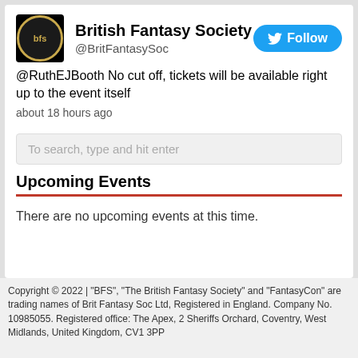[Figure (logo): British Fantasy Society circular logo with gold border on black background]
British Fantasy Society
@BritFantasySoc
[Figure (other): Twitter Follow button in blue]
@RuthEJBooth No cut off, tickets will be available right up to the event itself
about 18 hours ago
To search, type and hit enter
Upcoming Events
There are no upcoming events at this time.
Copyright © 2022 | "BFS", "The British Fantasy Society" and "FantasyCon" are trading names of Brit Fantasy Soc Ltd, Registered in England. Company No. 10985055. Registered office: The Apex, 2 Sheriffs Orchard, Coventry, West Midlands, United Kingdom, CV1 3PP